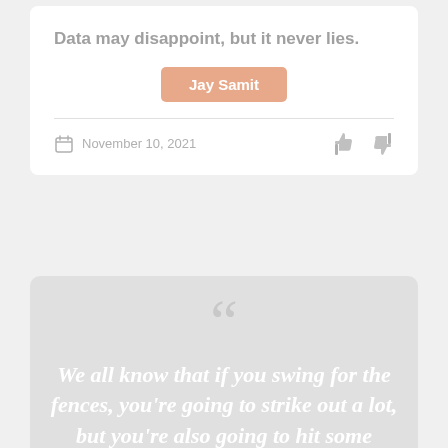Data may disappoint, but it never lies.
Jay Samit
November 10, 2021
We all know that if you swing for the fences, you're going to strike out a lot, but you're also going to hit some home runs.